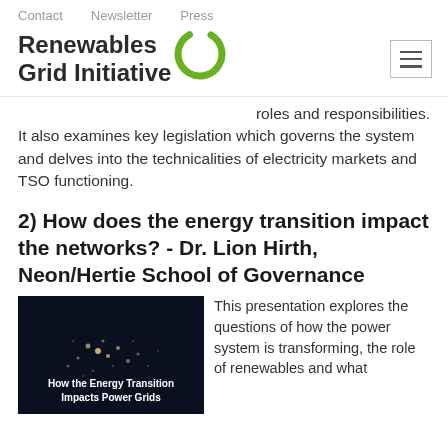Contact   Newsletter   Press
[Figure (logo): Renewables Grid Initiative logo with green circular icon]
roles and responsibilities. It also examines key legislation which governs the system and delves into the technicalities of electricity markets and TSO functioning.
2) How does the energy transition impact the networks? - Dr. Lion Hirth, Neon/Hertie School of Governance
[Figure (photo): Satellite photo of Europe at night showing city lights, with text overlay: How the Energy Transition Impacts Power Grids]
This presentation explores the questions of how the power system is transforming, the role of renewables and what